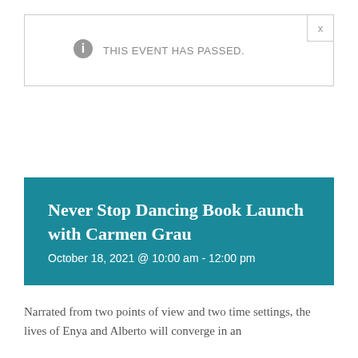THIS EVENT HAS PASSED.
Never Stop Dancing Book Launch with Carmen Grau
October 18, 2021 @ 10:00 am - 12:00 pm
Narrated from two points of view and two time settings, the lives of Enya and Alberto will converge in an